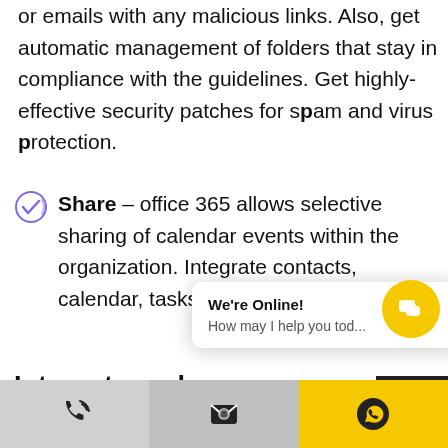or emails with any malicious links. Also, get automatic management of folders that stay in compliance with the guidelines. Get highly-effective security patches for spam and virus protection.
Share – office 365 allows selective sharing of calendar events within the organization. Integrate contacts, calendar, tasks, and more.
Integrate [truncated] web deve[lopment]...
Hello Pixels is a leading web development...
[Figure (screenshot): Chat popup overlay showing 'We're Online! How may I help you tod...' with a yellow circular chat button]
[Figure (infographic): Back to top arrow button (dark background with up arrow)]
Bottom bar with phone icon, email/envelope icon, and WhatsApp icon on yellow background